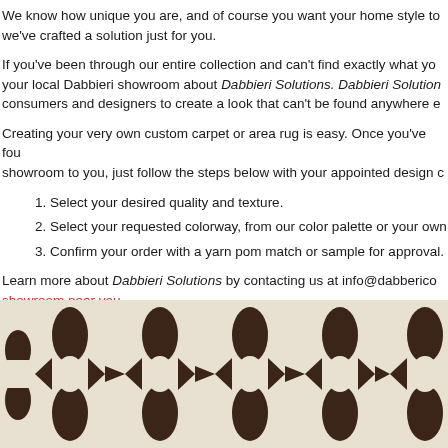We know how unique you are, and of course you want your home style to reflect that, so we've crafted a solution just for you.
If you've been through our entire collection and can't find exactly what you're looking for, ask your local Dabbieri showroom about Dabbieri Solutions. Dabbieri Solutions works with consumers and designers to create a look that can't be found anywhere else.
Creating your very own custom carpet or area rug is easy. Once you've found a Dabbieri showroom to you, just follow the steps below with your appointed design consultant:
Select your desired quality and texture.
Select your requested colorway, from our color palette or your own.
Confirm your order with a yarn pom match or sample for approval.
Learn more about Dabbieri Solutions by contacting us at info@dabbieri.com or find a showroom near you.
[Figure (photo): Close-up photo of a patterned area rug with a cream/beige background and dark brown interlocking geometric/oval motifs.]